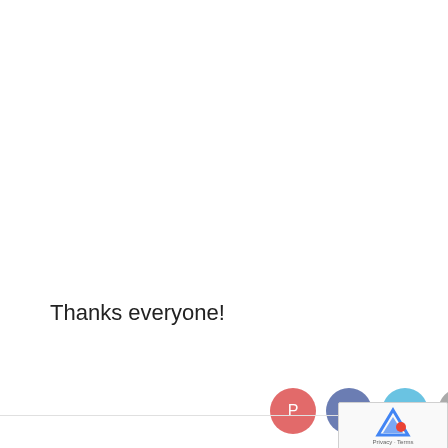Thanks everyone!
[Figure (other): Pin it button with red border and italic script text]
[Figure (other): Social sharing icons: Pinterest (red circle), Facebook (dark blue circle), Twitter (light blue circle), Email (gray circle), and a reCAPTCHA widget]